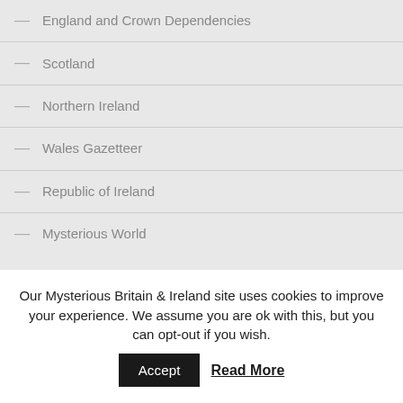— England and Crown Dependencies
— Scotland
— Northern Ireland
— Wales Gazetteer
— Republic of Ireland
— Mysterious World
CATEGORIES
Our Mysterious Britain & Ireland site uses cookies to improve your experience. We assume you are ok with this, but you can opt-out if you wish. Accept Read More